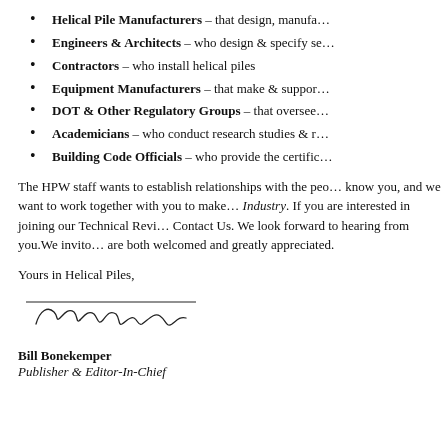Helical Pile Manufacturers – that design, manufa…
Engineers & Architects – who design & specify se…
Contractors – who install helical piles
Equipment Manufacturers – that make & suppor…
DOT & Other Regulatory Groups – that oversee…
Academicians – who conduct research studies & r…
Building Code Officials – who provide the certific…
The HPW staff wants to establish relationships with the peo… know you, and we want to work together with you to make… Industry. If you are interested in joining our Technical Rev… Contact Us. We look forward to hearing from you.We invit… are both welcomed and greatly appreciated.
Yours in Helical Piles,
[Figure (illustration): Handwritten signature of Bill Bonekemper]
Bill Bonekemper
Publisher & Editor-In-Chief